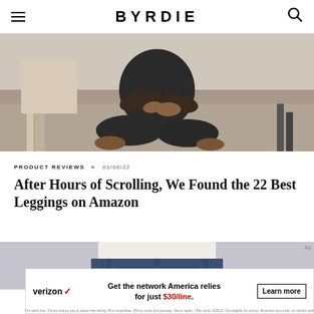BYRDIE
[Figure (photo): Person seated cross-legged on a hardwood floor wearing dark leggings, hands resting on knee, furniture visible in background]
PRODUCT REVIEWS  ▶  01/06/22
After Hours of Scrolling, We Found the 22 Best Leggings on Amazon
[Figure (photo): Close-up of person wearing dark wash high-waisted jeans with white top, cropped at waist]
[Figure (infographic): Verizon advertisement: Get the network America relies for just $30/line. Learn more.]